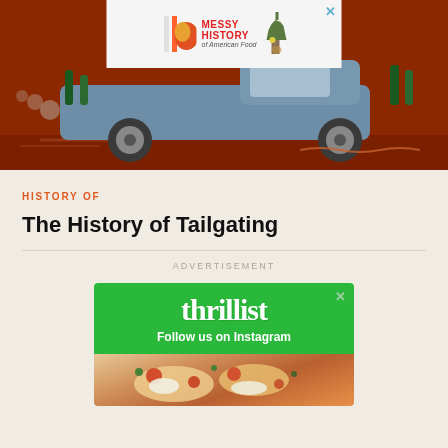[Figure (illustration): Hero image showing an illustrated cartoon-style blue pickup truck with bottles in the back, driving on a reddish-brown background. A small advertisement banner at the top shows colorful IO logo with 'MESSY HISTORY of American Food' text and Statue of Liberty image.]
HISTORY OF
The History of Tailgating
ADVERTISEMENT
[Figure (illustration): Thrillist advertisement with green background showing 'thrillist' logo text and 'Follow us on Instagram' tagline, with a food photo at the bottom showing what appears to be a pizza or flatbread with cheese and toppings.]